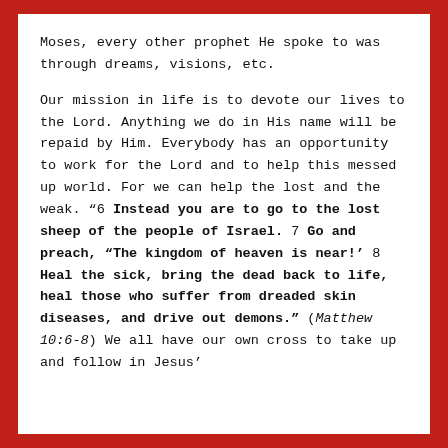Moses, every other prophet He spoke to was through dreams, visions, etc.
Our mission in life is to devote our lives to the Lord. Anything we do in His name will be repaid by Him. Everybody has an opportunity to work for the Lord and to help this messed up world. For we can help the lost and the weak. “6 Instead you are to go to the lost sheep of the people of Israel. 7 Go and preach, “The kingdom of heaven is near!’ 8 Heal the sick, bring the dead back to life, heal those who suffer from dreaded skin diseases, and drive out demons.” (Matthew 10:6-8) We all have our own cross to take up and follow in Jesus’